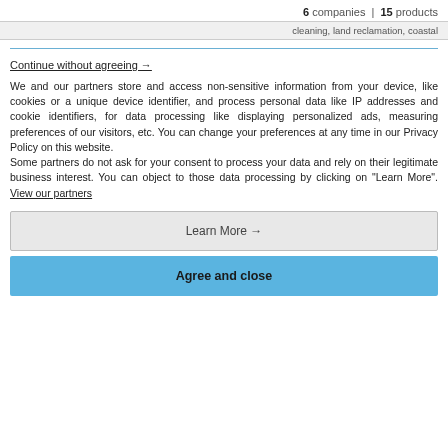6 companies | 15 products
cleaning, land reclamation, coastal
Continue without agreeing →
We and our partners store and access non-sensitive information from your device, like cookies or a unique device identifier, and process personal data like IP addresses and cookie identifiers, for data processing like displaying personalized ads, measuring preferences of our visitors, etc. You can change your preferences at any time in our Privacy Policy on this website.
Some partners do not ask for your consent to process your data and rely on their legitimate business interest. You can object to those data processing by clicking on "Learn More". View our partners
Learn More →
Agree and close